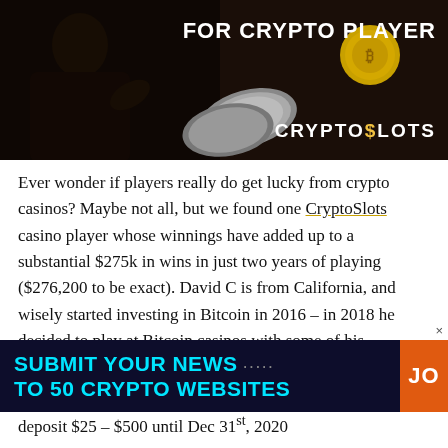[Figure (photo): CryptoSlots casino promotional banner with dark background, person in suit, cryptocurrency coins, text 'FOR CRYPTO PLAYER' and 'CRYPTOSLOTS' logo]
Ever wonder if players really do get lucky from crypto casinos? Maybe not all, but we found one CryptoSlots casino player whose winnings have added up to a substantial $275k in wins in just two years of playing ($276,200 to be exact). David C is from California, and wisely started investing in Bitcoin in 2016 – in 2018 he decided to play at Bitcoin casinos with some of his
[Figure (infographic): Advertisement banner: 'SUBMIT YOUR NEWS TO 50 CRYPTO WEBSITES' with cyan text on dark background and orange 'JO' button on right, with close X button]
deposit $25 – $500 until Dec 31st, 2020